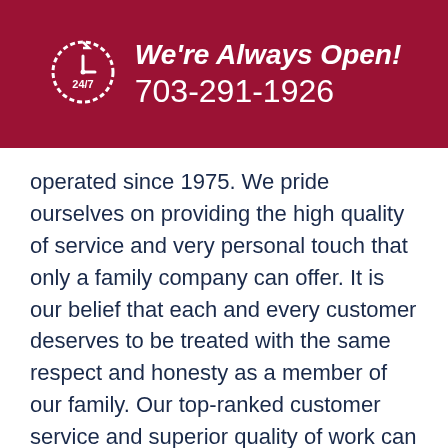We're Always Open! 703-291-1926
operated since 1975. We pride ourselves on providing the high quality of service and very personal touch that only a family company can offer. It is our belief that each and every customer deserves to be treated with the same respect and honesty as a member of our family. Our top-ranked customer service and superior quality of work can be attributed to this belief.
We are also committed to educating our employees so that every technician that enters your home is the most qualified technician available. We evaluate our